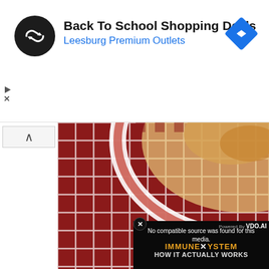[Figure (screenshot): Ad banner with black circular logo containing double arrow icon, bold text 'Back To School Shopping Deals', blue subtext 'Leesburg Premium Outlets', and blue diamond navigation arrow icon on the right. Small play triangle and X icons on far left. Collapse/chevron button below.]
[Figure (photo): Food photo showing a red and white decorative plate with food (appears to be a casserole or pasta dish) on a red background with checkered/lattice pattern]
[Figure (screenshot): Black video player overlay showing 'Powered By VDO.AI' watermark, close X button, error message 'No compatible source was found for this media.' and video title graphics 'IMMUNE SYSTEM HOW IT ACTUALLY WORKS']